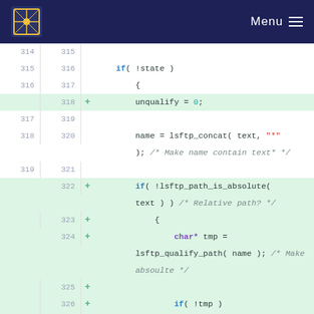Menu
[Figure (screenshot): Code diff view showing lines 314-330 with added lines highlighted in green. Lines 318, 322-330 are new additions marked with '+'.]